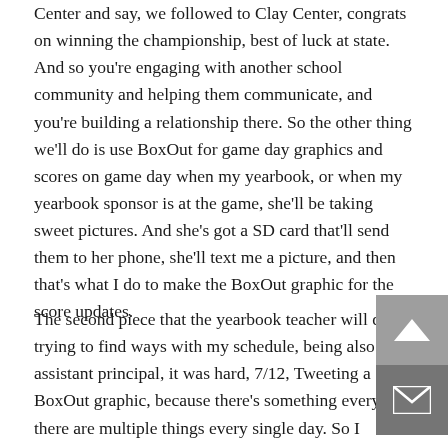Center and say, we followed to Clay Center, congrats on winning the championship, best of luck at state. And so you're engaging with another school community and helping them communicate, and you're building a relationship there. So the other thing we'll do is use BoxOut for game day graphics and scores on game day when my yearbook, or when my yearbook sponsor is at the game, she'll be taking sweet pictures. And she's got a SD card that'll send them to her phone, she'll text me a picture, and then that's what I do to make the BoxOut graphic for the score updates.
The second piece that the yearbook teacher will do is trying to find ways with my schedule, being also assistant principal, it was hard, 7/12, Tweeting a BoxOut graphic, because there's something every, there are multiple things every single day. So I